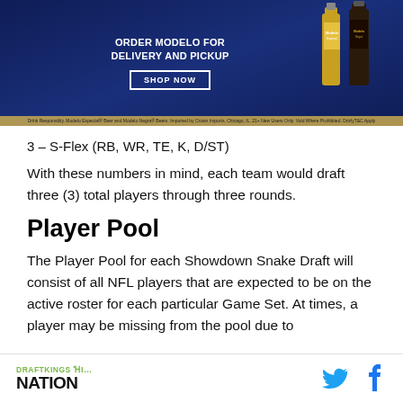[Figure (photo): Modelo beer advertisement banner with dark blue background showing Modelo Especial and Modelo Negra bottles, text 'ORDER MODELO FOR DELIVERY AND PICKUP' with a 'SHOP NOW' button]
3 - S-Flex (RB, WR, TE, K, D/ST)
With these numbers in mind, each team would draft three (3) total players through three rounds.
Player Pool
The Player Pool for each Showdown Snake Draft will consist of all NFL players that are expected to be on the active roster for each particular Game Set. At times, a player may be missing from the pool due to
DRAFTKINGS NATION